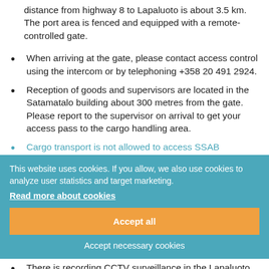distance from highway 8 to Lapaluoto is about 3.5 km. The port area is fenced and equipped with a remote-controlled gate.
When arriving at the gate, please contact access control using the intercom or by telephoning +358 20 491 2924.
Reception of goods and supervisors are located in the Satamatalo building about 300 metres from the gate. Please report to the supervisor on arrival to get your access pass to the cargo handling area.
Cargo transport is not allowed to access SSAB steelworks through Lapaluoto Port. Access to SSAB steelworks is only through the SSAB main gate.
There is recording CCTV surveillance in the Lapaluoto area.
This website uses cookies. If you allow, we also use cookies to analyze user statistics and target marketing.
Read more about cookies
Accept all
Accept necessary cookies